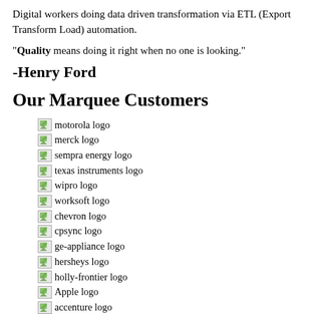Digital workers doing data driven transformation via ETL (Export Transform Load) automation.
"Quality means doing it right when no one is looking."
-Henry Ford
Our Marquee Customers
motorola logo
merck logo
sempra energy logo
texas instruments logo
wipro logo
worksoft logo
chevron logo
cpsync logo
ge-appliance logo
hersheys logo
holly-frontier logo
Apple logo
accenture logo